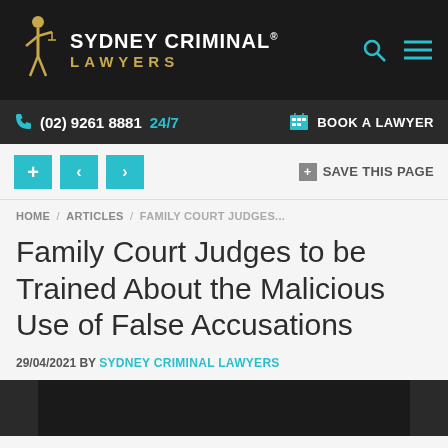[Figure (logo): Sydney Criminal Lawyers logo with gold figure and white/gold text on dark background, with teal search and menu icons]
(02) 9261 8881 24/7   BOOK A LAWYER
[Figure (screenshot): Navigation buttons: plus, left arrow, right arrow in teal; SAVE THIS PAGE button on right]
HOME / ARTICLES / FAMILY COURT JUDGES...
Family Court Judges to be Trained About the Malicious Use of False Accusations
29/04/2021 BY SYDNEY CRIMINAL LAWYERS